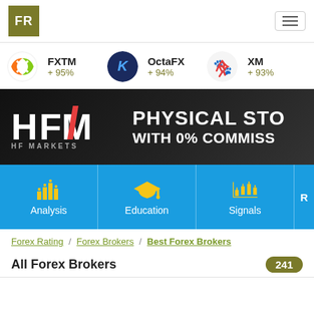FR (logo) | hamburger menu
[Figure (logo): FXTM broker logo (orange/green circular icon) with name FXTM and score + 95%]
[Figure (logo): OctaFX broker logo (dark blue circular icon with K) with name OctaFX and score + 94%]
[Figure (logo): XM broker logo (red figures icon) with name XM and score + 93%]
[Figure (photo): HFM HF Markets banner advertisement — black background with HFM logo in white/red on left, text PHYSICAL STO... WITH 0% COMMISS... on right in bold white]
[Figure (infographic): Blue navigation bar with three visible tabs: Analysis (bar chart icon), Education (graduation cap icon), Signals (candlestick chart icon), and partially visible fourth tab]
Forex Rating / Forex Brokers / Best Forex Brokers
All Forex Brokers
241